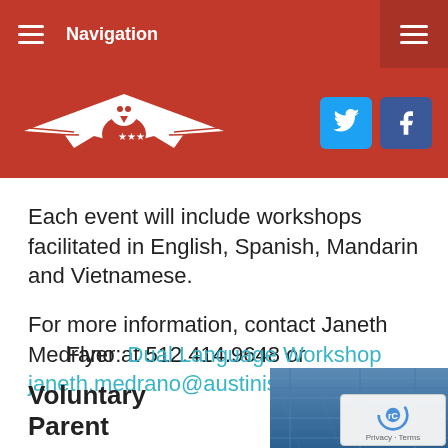Navigation
[Figure (logo): Austin ISD eagle logo in white on red background with Twitter and Facebook social media icons]
Each event will include workshops facilitated in English, Spanish, Mandarin and Vietnamese.
For more information, contact Janeth Medrano at 512.414.9648 or janeth.medrano@austinisd.org.
Flyer: Dual Language Workshop
Voluntary Parent
[Figure (photo): Close-up photo of blue denim jeans pockets]